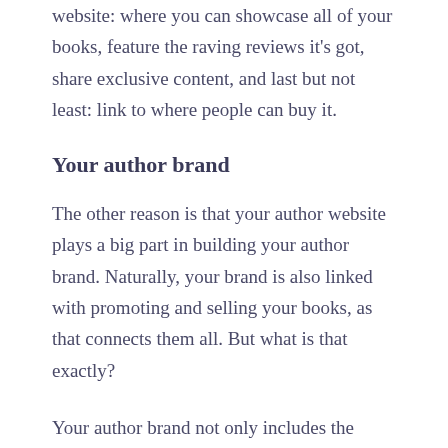website: where you can showcase all of your books, feature the raving reviews it's got, share exclusive content, and last but not least: link to where people can buy it.
Your author brand
The other reason is that your author website plays a big part in building your author brand. Naturally, your brand is also linked with promoting and selling your books, as that connects them all. But what is that exactly?
Your author brand not only includes the genre and type of books you write but also your public personality, how you communicate with your